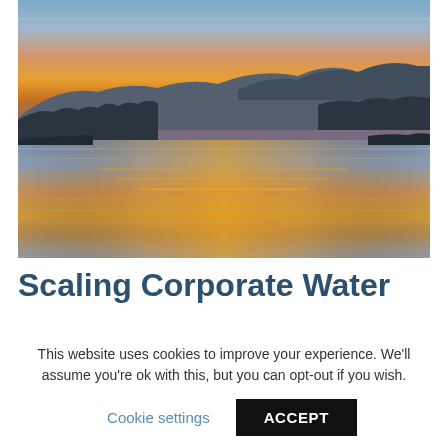[Figure (photo): Sunset landscape photograph showing a river or lake with mountains in the background. Sky shows vivid orange and yellow sunset colors with blue-purple hues. Mountains are silhouetted in the distance; trees and vegetation visible along the water's edge. Water reflects the warm sunset colors.]
Scaling Corporate Water
This website uses cookies to improve your experience. We'll assume you're ok with this, but you can opt-out if you wish.